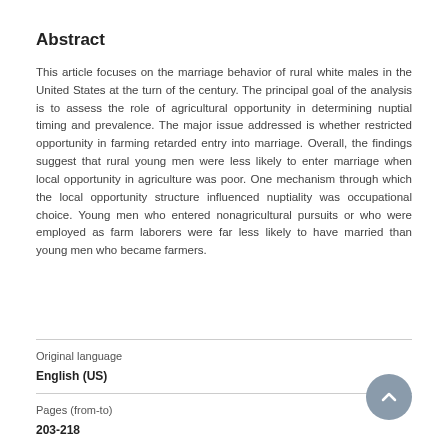Abstract
This article focuses on the marriage behavior of rural white males in the United States at the turn of the century. The principal goal of the analysis is to assess the role of agricultural opportunity in determining nuptial timing and prevalence. The major issue addressed is whether restricted opportunity in farming retarded entry into marriage. Overall, the findings suggest that rural young men were less likely to enter marriage when local opportunity in agriculture was poor. One mechanism through which the local opportunity structure influenced nuptiality was occupational choice. Young men who entered nonagricultural pursuits or who were employed as farm laborers were far less likely to have married than young men who became farmers.
Original language
English (US)
Pages (from-to)
203-218